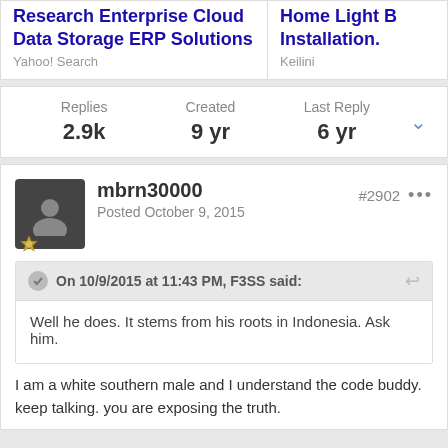Research Enterprise Cloud Data Storage ERP Solutions
Yahoo! Search
Home Light B Installation.
Keilini
Replies 2.9k | Created 9 yr | Last Reply 6 yr
mbrn30000
Posted October 9, 2015
#2902
On 10/9/2015 at 11:43 PM, F3SS said:
Well he does. It stems from his roots in Indonesia. Ask him.
I am a white southern male and I understand the code buddy. keep talking. you are exposing the truth.